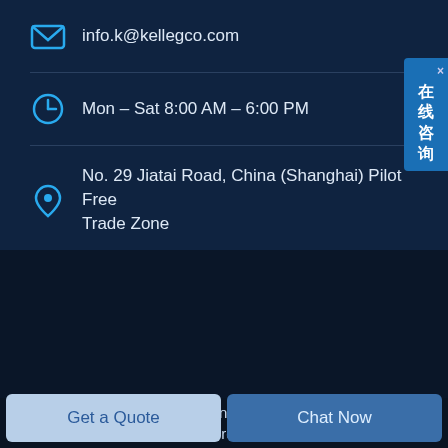info.k@kellegco.com
Mon – Sat 8:00 AM – 6:00 PM
No. 29 Jiatai Road, China (Shanghai) Pilot Free Trade Zone
[Figure (other): Online chat widget with Chinese text 在线咨询]
Copyright © 2022.Kelleg International Trade (Shanghai) Co., Ltd. All rights reserved. Sitemap
Get a Quote
Chat Now